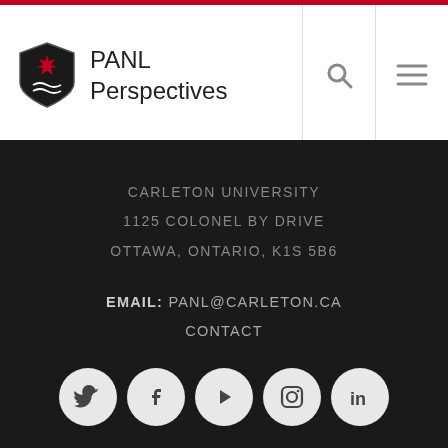PANL Perspectives
CARLETON UNIVERSITY
1125 COLONEL BY DRIVE
OTTAWA, ONTARIO, K1S 5B6
EMAIL: PANL@CARLETON.CA
CONTACT
[Figure (logo): Social media icons: Twitter, Facebook, YouTube/Play, Instagram, LinkedIn]
[Figure (logo): Carleton University shield logo with red maple leaf]